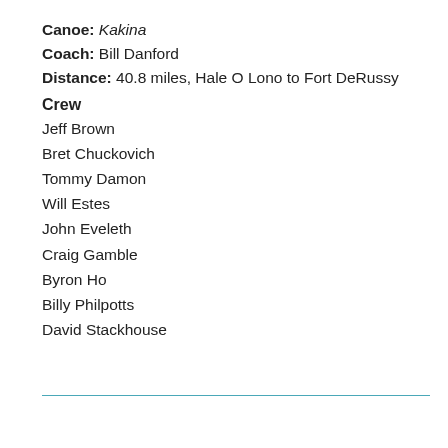Canoe: Kakina
Coach: Bill Danford
Distance: 40.8 miles, Hale O Lono to Fort DeRussy
Crew
Jeff Brown
Bret Chuckovich
Tommy Damon
Will Estes
John Eveleth
Craig Gamble
Byron Ho
Billy Philpotts
David Stackhouse